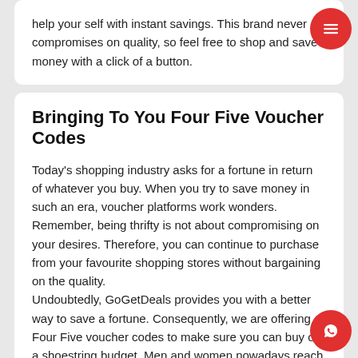help your self with instant savings. This brand never compromises on quality, so feel free to shop and save money with a click of a button.
Bringing To You Four Five Voucher Codes
Today's shopping industry asks for a fortune in return of whatever you buy. When you try to save money in such an era, voucher platforms work wonders. Remember, being thrifty is not about compromising on your desires. Therefore, you can continue to purchase from your favourite shopping stores without bargaining on the quality.
Undoubtedly, GoGetDeals provides you with a better way to save a fortune. Consequently, we are offering Four Five voucher codes to make sure you can buy on a shoestring budget. Men and women nowadays reach out to stores that meet customer satisfaction. Hence, you will love to buy from this brand and make the most of its shopping deals available on our website.